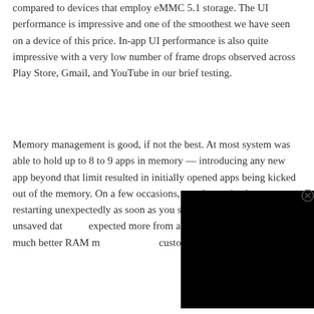compared to devices that employ eMMC 5.1 storage. The UI performance is impressive and one of the smoothest we have seen on a device of this price. In-app UI performance is also quite impressive with a very low number of frame drops observed across Play Store, Gmail, and YouTube in our brief testing.
Memory management is good, if not the best. At most system was able to hold up to 8 to 9 apps in memory — introducing any new app beyond that limit resulted in initially opened apps being kicked out of the memory. On a few occasions, we also noticed apps restarting unexpectedly as soon as you sw... resulting in loss of unsaved dat... expected more from a device r... have seen much better RAM m... custom UIs such as MIUI.
[Figure (other): Black video/media overlay panel covering lower-right portion of the page, with an X close button in the top-right corner.]